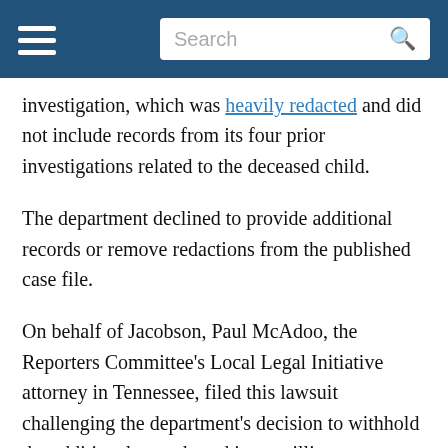[Navigation menu] [Search]
investigation, which was heavily redacted and did not include records from its four prior investigations related to the deceased child.
The department declined to provide additional records or remove redactions from the published case file.
On behalf of Jacobson, Paul McAdoo, the Reporters Committee's Local Legal Initiative attorney in Tennessee, filed this lawsuit challenging the department's decision to withhold the additional records and its unwillingness to remove unlawful redactions on the published documents. The lawsuit